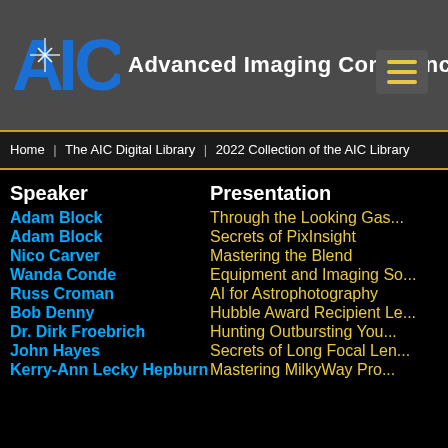[Figure (logo): AIC Advanced Imaging Conference logo with stylized AIC letters in blue and white on grey background, with hamburger menu icon]
Home | The AIC Digital Library | 2022 Collection of the AIC Library
| Speaker | Presentation |
| --- | --- |
| Adam Block | Through the Looking Gas... |
| Adam Block | Secrets of PixInsight |
| Nico Carver | Mastering the Blend |
| Wanda Conde | Equipment and Imaging So... |
| Russ Croman | AI for Astrophotography |
| Bob Denny | Hubble Award Recipient Le... |
| Dr. Dirk Froebrich | Hunting Outbursting You... |
| John Hayes | Secrets of Long Focal Len... |
| Kerry-Ann Lecky Hepburn | Mastering MilkyWay Pro... |